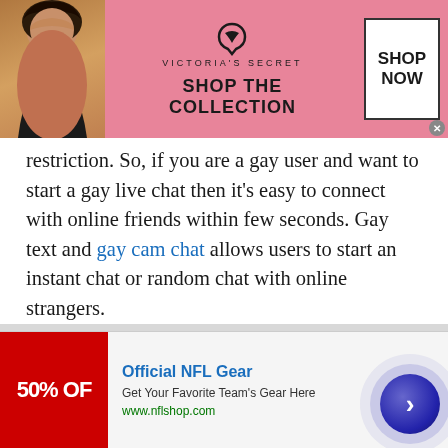[Figure (other): Victoria's Secret advertisement banner with model on left, logo and 'SHOP THE COLLECTION' text in center, and 'SHOP NOW' button on right]
restriction. So, if you are a gay user and want to start a gay live chat then it's easy to connect with online friends within few seconds. Gay text and gay cam chat allows users to start an instant chat or random chat with online strangers.

So, alright, there will be no more hassle for guy users. Free gay chat rooms or gay cam chat is absolutely the best chat room available that help gays to enlarge their friend's circle. Are you willing to join free gay chat rooms without spending any
[Figure (other): Official NFL Gear advertisement banner with red background showing '50% OFF' on left, NFL gear promotion text and www.nflshop.com URL, with navigation arrow button on right]